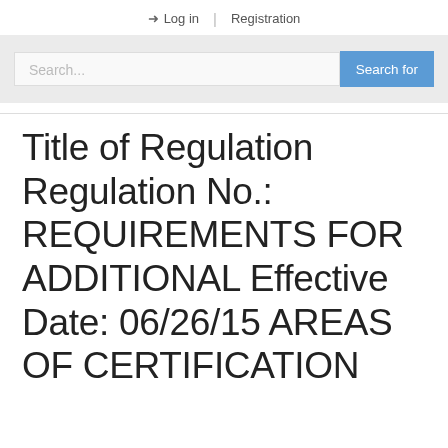Log in | Registration
Search...
Title of Regulation Regulation No.: REQUIREMENTS FOR ADDITIONAL Effective Date: 06/26/15 AREAS OF CERTIFICATION